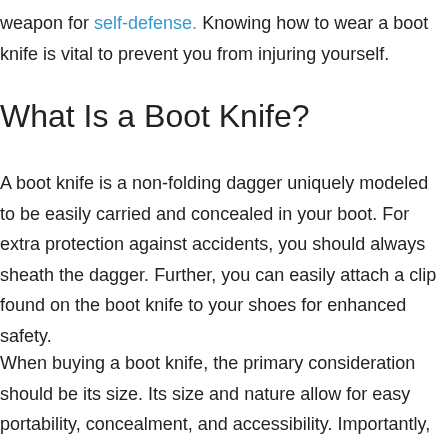weapon for self-defense. Knowing how to wear a boot knife is vital to prevent you from injuring yourself.
What Is a Boot Knife?
A boot knife is a non-folding dagger uniquely modeled to be easily carried and concealed in your boot. For extra protection against accidents, you should always sheath the dagger. Further, you can easily attach a clip found on the boot knife to your shoes for enhanced safety.
When buying a boot knife, the primary consideration should be its size. Its size and nature allow for easy portability, concealment, and accessibility. Importantly, an appropriate